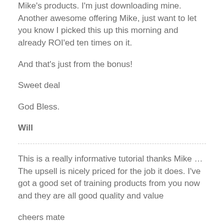Mike's products. I'm just downloading mine. Another awesome offering Mike, just want to let you know I picked this up this morning and already ROI'ed ten times on it.
And that's just from the bonus!
Sweet deal
God Bless.
Will
This is a really informative tutorial thanks Mike … The upsell is nicely priced for the job it does. I've got a good set of training products from you now and they are all good quality and value
cheers mate